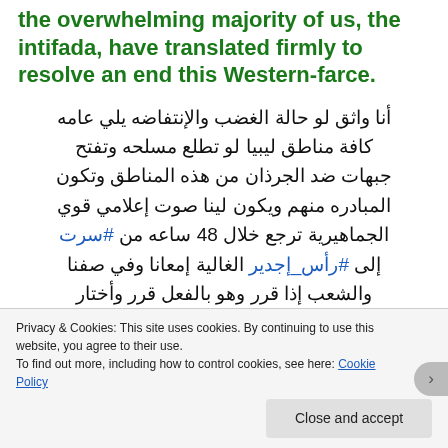the overwhelming majority of us, the intifada, have translated firmly to resolve an end this Western-farce.
أنا واثق لو حالة الغضب والإنتفاضه يلي عامه كافة مناطق ليبيا لو تطلع مسلحه وتفتح جبهات ضد الجرذان من هذه المناطق وتكون المبادره منهم ويكون لينا صوت إعلامي قوي الجماهيرية ترجع خلال 48 ساعه من #سرت إلى #رأس_إجدير الغالية إمعانا وفي صفنا والشعب إذا قرر وهو بالفعل قرر وأختار وراهن عالوطن ضروري من ترجمة الموقف عسكريا ضروري من الحسم مع هؤلاء العملاء إما إحقاق الحق أوالإستشهاد دونه وإما
Privacy & Cookies: This site uses cookies. By continuing to use this website, you agree to their use.
To find out more, including how to control cookies, see here: Cookie Policy
Close and accept